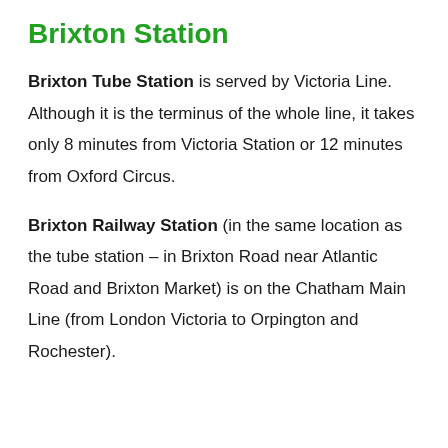Brixton Station
Brixton Tube Station is served by Victoria Line. Although it is the terminus of the whole line, it takes only 8 minutes from Victoria Station or 12 minutes from Oxford Circus.
Brixton Railway Station (in the same location as the tube station – in Brixton Road near Atlantic Road and Brixton Market) is on the Chatham Main Line (from London Victoria to Orpington and Rochester).